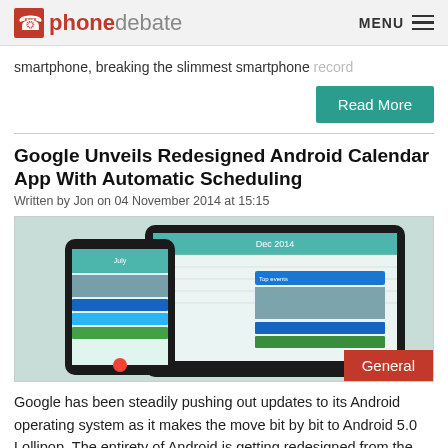phonedebate | MENU
smartphone, breaking the slimmest smartphone record
Read More
Google Unveils Redesigned Android Calendar App With Automatic Scheduling
Written by Jon on 04 November 2014 at 15:15
[Figure (screenshot): Screenshot of the redesigned Android Calendar app shown on a smartphone and tablet running Android 5.0 Lollipop, with a 'General' category badge in the bottom right corner.]
Google has been steadily pushing out updates to its Android operating system as it makes the move bit by bit to Android 5.0 Lollipop. The entirety of Android is getting redesigned from the ground up for Lollipop, and the latest update sees